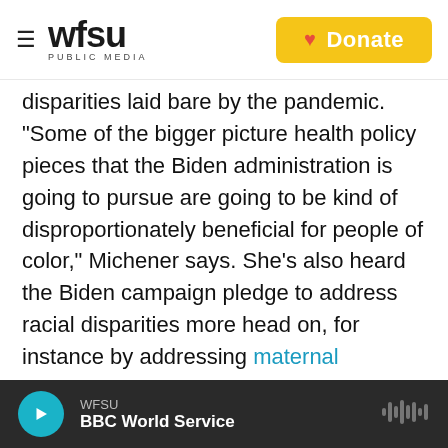WFSU PUBLIC MEDIA — Donate
disparities laid bare by the pandemic. "Some of the bigger picture health policy pieces that the Biden administration is going to pursue are going to be kind of disproportionately beneficial for people of color," Michener says. She's also heard the Biden campaign pledge to address racial disparities more head on, for instance by addressing maternal mortality.
The Trump administration also has been criticized for not doing enough to address the significant racial disparities in the COVID-19 pandemic, including by not releasing demographic data that
WFSU — BBC World Service (audio player)